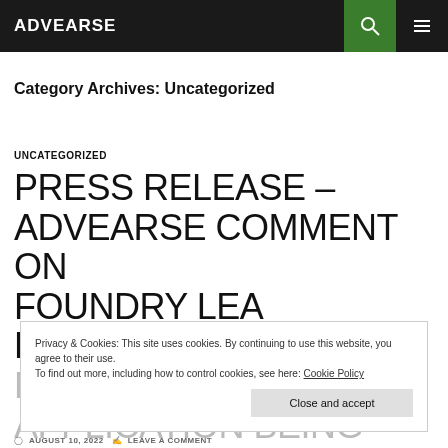ADVEARSE
Category Archives: Uncategorized
UNCATEGORIZED
PRESS RELEASE – ADVEARSE COMMENT ON FOUNDRY LEA RESERVED MATTERS PLANNING APPLICATION BEING GRANTED
Privacy & Cookies: This site uses cookies. By continuing to use this website, you agree to their use. To find out more, including how to control cookies, see here: Cookie Policy
AUGUST 10, 2022   LEAVE A COMMENT